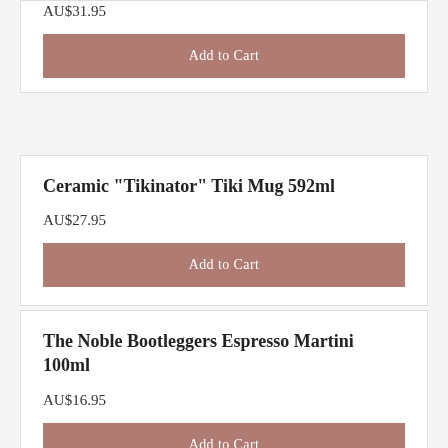AU$31.95
Add to Cart
Ceramic "Tikinator" Tiki Mug 592ml
AU$27.95
Add to Cart
The Noble Bootleggers Espresso Martini 100ml
AU$16.95
Add to Cart